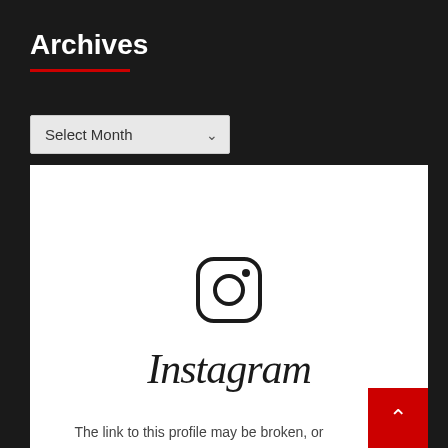Archives
Select Month
[Figure (screenshot): Instagram embedded widget showing Instagram logo icon and wordmark 'Instagram' with caption 'The link to this profile may be broken, or']
The link to this profile may be broken, or